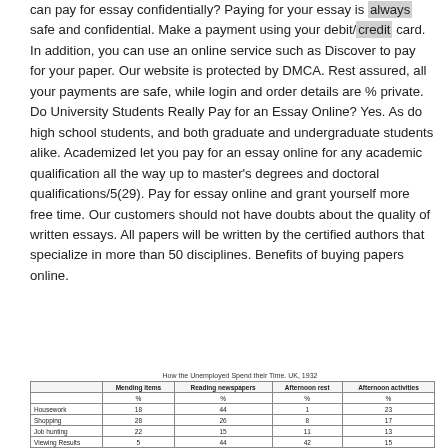can pay for essay confidentially? Paying for your essay is always safe and confidential. Make a payment using your debit/credit card. In addition, you can use an online service such as Discover to pay for your paper. Our website is protected by DMCA. Rest assured, all your payments are safe, while login and order details are % private. Do University Students Really Pay for an Essay Online? Yes. As do high school students, and both graduate and undergraduate students alike. Academized let you pay for an essay online for any academic qualification all the way up to master's degrees and doctoral qualifications/5(29). Pay for essay online and grant yourself more free time. Our customers should not have doubts about the quality of written essays. All papers will be written by the certified authors that specialize in more than 50 disciplines. Benefits of buying papers online.
How the Unemployed Spend their Time. UK, 1932
|  | Mending items | Reading newspapers | Afternoon rest | Afternoon activities |
| --- | --- | --- | --- | --- |
|  | % | % | % | % |
| Housework | 18 | 44 | 1 | 23 |
| Shopping | 28 | 26 | 8 | 17 |
| Job hunting | 22 | 15 | 11 | 13 |
| Viewing Results | 5 | 44 | 42 | 15 |